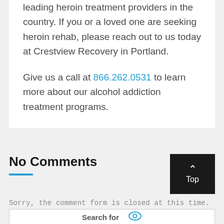leading heroin treatment providers in the country. If you or a loved one are seeking heroin rehab, please reach out to us today at Crestview Recovery in Portland.
Give us a call at 866.262.0531 to learn more about our alcohol addiction treatment programs.
No Comments
Sorry, the comment form is closed at this time.
Search for